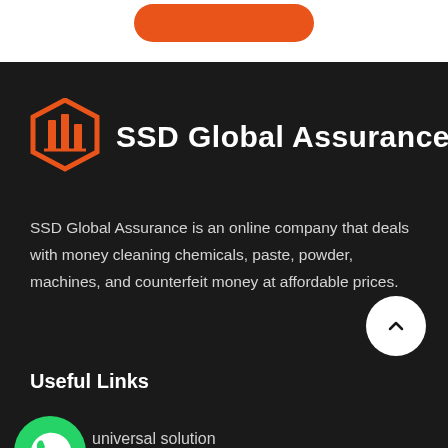[Figure (logo): Orange rounded hexagon building logo with SSD Global Assurance text]
SSD Global Assurance is an online company that deals with money cleaning chemicals, paste, powder, machines, and counterfeit money at affordable prices.
Useful Links
[Figure (logo): WhatsApp green circular logo icon]
universal solution
Vactrol Paste